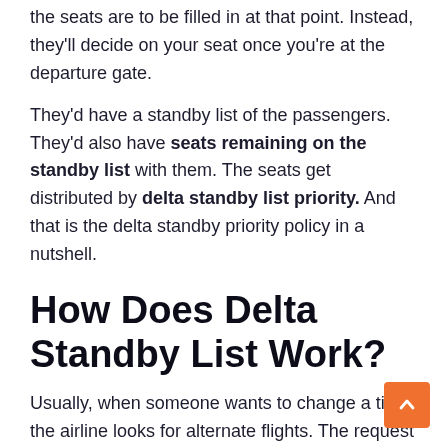the seats are to be filled in at that point. Instead, they'll decide on your seat once you're at the departure gate.
They'd have a standby list of the passengers. They'd also have seats remaining on the standby list with them. The seats get distributed by delta standby list priority. And that is the delta standby priority policy in a nutshell.
How Does Delta Standby List Work?
Usually, when someone wants to change a ticket the airline looks for alternate flights. The request to change the ticket must be done within 24 hours.